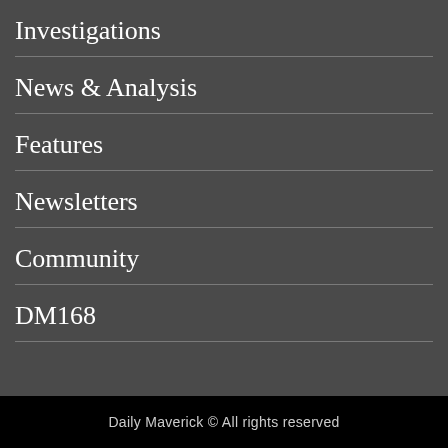Investigations
News & Analysis
Features
Newsletters
Community
DM168
Daily Maverick © All rights reserved